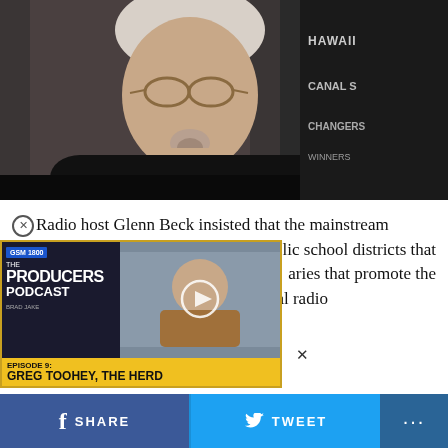[Figure (photo): Photo of radio host Glenn Beck, a middle-aged white man with gray hair and glasses, wearing a dark jacket, seated against a dark background with partial text visible on the right side.]
Radio host Glenn Beck insisted that the mainstream ... public school districts that ... aries that promote the ... during his national radio show Wednesday.
[Figure (screenshot): Overlay advertisement for 'The Producers Podcast' Episode 9 featuring Greg Toohey, The Herd, with a play button and yellow banner.]
SHARE   TWEET   ...